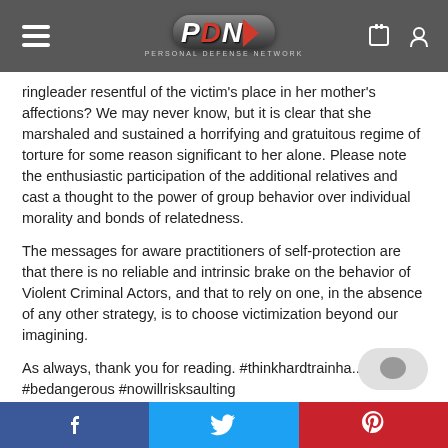PDN Personal Defense Network
ringleader resentful of the victim’s place in her mother’s affections? We may never know, but it is clear that she marshaled and sustained a horrifying and gratuitous regime of torture for some reason significant to her alone. Please note the enthusiastic participation of the additional relatives and cast a thought to the power of group behavior over individual morality and bonds of relatedness.
The messages for aware practitioners of self-protection are that there is no reliable and intrinsic brake on the behavior of Violent Criminal Actors, and that to rely on one, in the absence of any other strategy, is to choose victimization beyond our imagining.
As always, thank you for reading. #thinkhardtrainha... #bedangerous #nowillrisksaulting
Facebook | Twitter | Pinterest